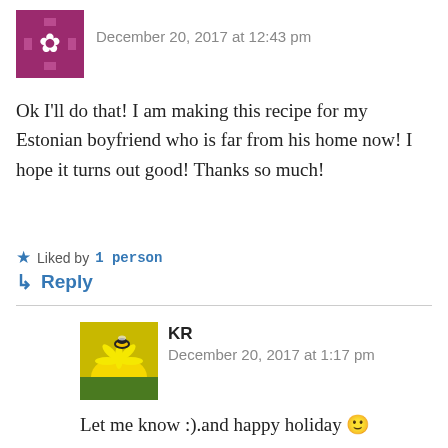[Figure (photo): Avatar with magenta/maroon snowflake-like icon]
December 20, 2017 at 12:43 pm
Ok I'll do that! I am making this recipe for my Estonian boyfriend who is far from his home now! I hope it turns out good! Thanks so much!
Liked by 1 person
Reply
[Figure (photo): Photo of a bee on a yellow dandelion flower]
KR
December 20, 2017 at 1:17 pm
Let me know :).and happy holiday 🙂
Liked by 1 person
Reply